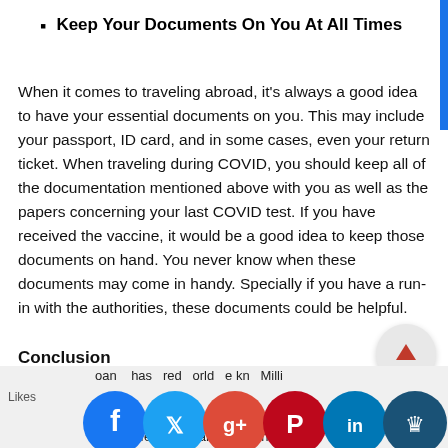Keep Your Documents On You At All Times
When it comes to traveling abroad, it's always a good idea to have your essential documents on you. This may include your passport, ID card, and in some cases, even your return ticket. When traveling during COVID, you should keep all of the documentation mentioned above with you as well as the papers concerning your last COVID test. If you have received the vaccine, it would be a good idea to keep those documents on hand. You never know when these documents may come in handy. Specially if you have a run-in with the authorities, these documents could be helpful.
Conclusion
Likes  pan  has  red  orld  e kn  Milli  es v  affe  y CO  and  isn't  n to